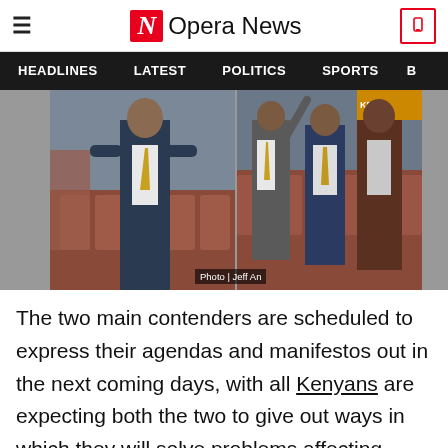Opera News
HEADLINES   LATEST   POLITICS   SPORTS
[Figure (photo): Two side-by-side photos showing men in formal attire. Left photo shows a man in a suit near red chairs. Right photo shows three men standing, one gesturing. Caption: Photo | Jeff An]
The two main contenders are scheduled to express their agendas and manifestos out in the next coming days, with all Kenyans are expecting both the two to give out ways in which they will solve problems affecting them. Media houses will be free to interview them in order to bring accountability and to help the people if they will be able to lead them well. Chairman media association had